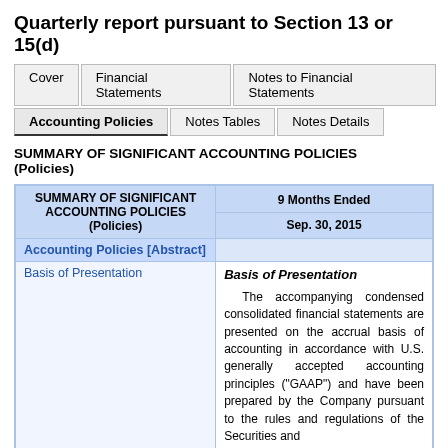Quarterly report pursuant to Section 13 or 15(d)
Cover | Financial Statements | Notes to Financial Statements | Accounting Policies | Notes Tables | Notes Details
SUMMARY OF SIGNIFICANT ACCOUNTING POLICIES (Policies)
| SUMMARY OF SIGNIFICANT ACCOUNTING POLICIES (Policies) | 9 Months Ended
Sep. 30, 2015 |
| --- | --- |
| Accounting Policies [Abstract] |  |
| Basis of Presentation | Basis of Presentation

The accompanying condensed consolidated financial statements are presented on the accrual basis of accounting in accordance with U.S. generally accepted accounting principles ("GAAP") and have been prepared by the Company pursuant to the rules and regulations of the Securities and |